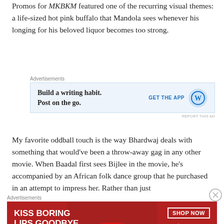Promos for MKBKM featured one of the recurring visual themes: a life-sized hot pink buffalo that Mandola sees whenever his longing for his beloved liquor becomes too strong.
[Figure (screenshot): Advertisement banner: 'Build a writing habit. Post on the go.' with WordPress logo and 'GET THE APP' button on light blue background]
My favorite oddball touch is the way Bhardwaj deals with something that would've been a throw-away gag in any other movie. When Baadal first sees Bijlee in the movie, he's accompanied by an African folk dance group that he purchased in an attempt to impress her. Rather than just
[Figure (screenshot): Advertisement banner for Macy's: 'KISS BORING LIPS GOODBYE' with SHOP NOW button on dark red background with woman's face showing red lips]